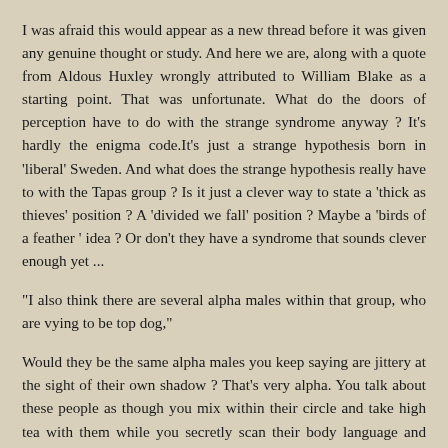I was afraid this would appear as a new thread before it was given any genuine thought or study. And here we are, along with a quote from Aldous Huxley wrongly attributed to William Blake as a starting point. That was unfortunate. What do the doors of perception have to do with the strange syndrome anyway ? It's hardly the enigma code.It's just a strange hypothesis born in 'liberal' Sweden. And what does the strange hypothesis really have to with the Tapas group ? Is it just a clever way to state a 'thick as thieves' position ? A 'divided we fall' position ? Maybe a 'birds of a feather ' idea ? Or don't they have a syndrome that sounds clever enough yet ...
"I also think there are several alpha males within that group, who are vying to be top dog,"
Would they be the same alpha males you keep saying are jittery at the sight of their own shadow ? That's very alpha. You talk about these people as though you mix within their circle and take high tea with them while you secretly scan their body language and social interactions.But you don't.You're guessing in the dark and trying to pass it off as